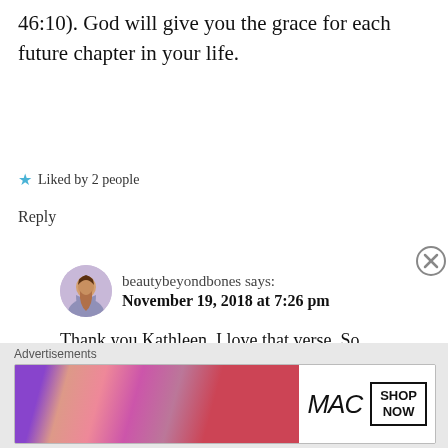46:10). God will give you the grace for each future chapter in your life.
★ Liked by 2 people
Reply
beautybeyondbones says: November 19, 2018 at 7:26 pm
Thank you Kathleen. I love that verse. So comforting! Hugs and love xox
★ Liked by 1 person
[Figure (photo): Advertisement banner for MAC cosmetics showing lipsticks and SHOP NOW button]